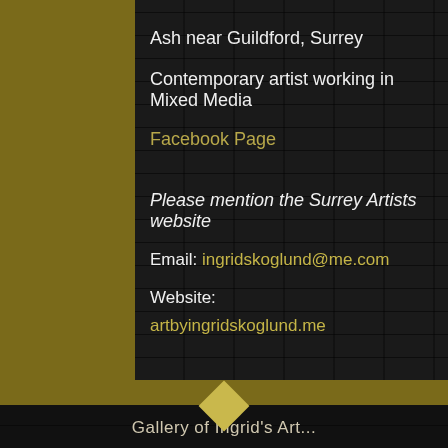Ash near Guildford, Surrey
Contemporary artist working in Mixed Media
Facebook Page
Please mention the Surrey Artists website
Email: ingridskoglund@me.com
Website:
artbyingridskoglund.me
Gallery of Ingrid's Art...